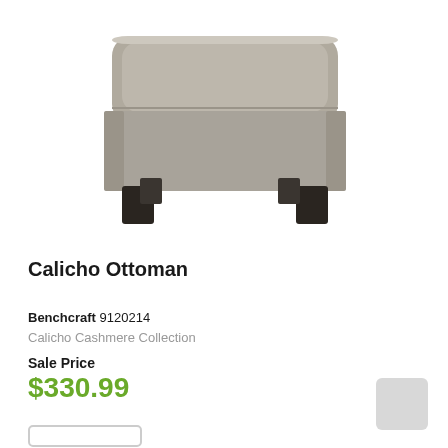[Figure (photo): Gray fabric ottoman with dark wooden legs, square shape with rounded corners, Calicho Cashmere style]
Calicho Ottoman
Benchcraft 9120214
Calicho Cashmere Collection
Sale Price
$330.99